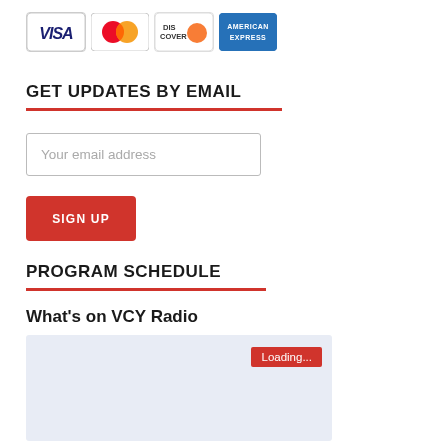[Figure (logo): Four credit card logos: Visa, MasterCard, Discover, American Express]
GET UPDATES BY EMAIL
Your email address
SIGN UP
PROGRAM SCHEDULE
What's on VCY Radio
[Figure (screenshot): Schedule loading area with 'Loading...' badge in red]